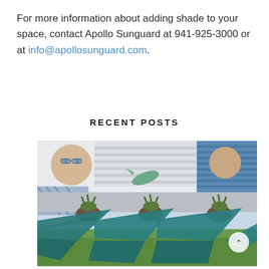For more information about adding shade to your space, contact Apollo Sunguard at 941-925-3000 or at info@apollosunguard.com.
RECENT POSTS
[Figure (photo): Aerial view of teal/green shade sail canopies over an outdoor space with green grass, planters, and a colorful mural wall with blue shutters in the background.]